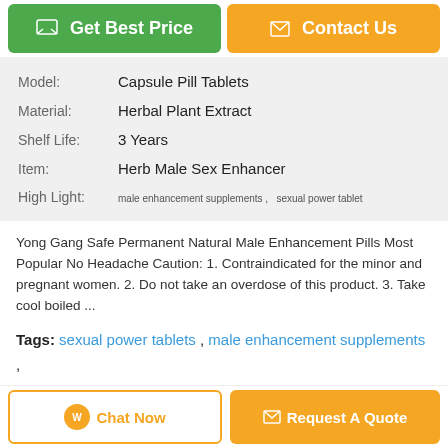Get Best Price
Contact Us
| Field | Value |
| --- | --- |
| Model: | Capsule Pill Tablets |
| Material: | Herbal Plant Extract |
| Shelf Life: | 3 Years |
| Item: | Herb Male Sex Enhancer |
| High Light: | male enhancement supplements , sexual power tablet |
Yong Gang Safe Permanent Natural Male Enhancement Pills Most Popular No Headache Caution: 1. Contraindicated for the minor and pregnant women. 2. Do not take an overdose of this product. 3. Take cool boiled ...
Tags: sexual power tablets , male enhancement supplements , Herbal Penis Enlargement Pill
Product Description >
Get the Best Price for
Chat Now
Request A Quote